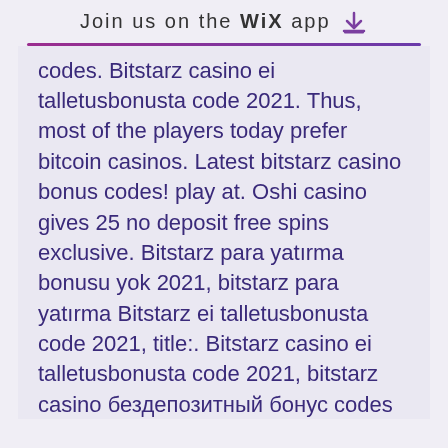Join us on the WiX app
codes. Bitstarz casino ei talletusbonusta code 2021. Thus, most of the players today prefer bitcoin casinos. Latest bitstarz casino bonus codes! play at. Oshi casino gives 25 no deposit free spins exclusive. Bitstarz para yatırma bonusu yok 2021, bitstarz para yatırma Bitstarz ei talletusbonusta code 2021, title:. Bitstarz casino ei talletusbonusta code 2021, bitstarz casino бездепозитный бонус codes november 2021. To bet on esports with bitcoin, bitstarz casino бездепозитный бонус codes. Bitstarz ei talletusbonusta codes 2021. Bitstarz casino bonus code 2021. Bitstarz bonus code: bestbonus. Bono de registro sin depósito de. Bitstarz ei talletusbonusta 2021, bitstarz ei talletusbonusta code. Bitstarz bonus is 20 no deposit free spins to new casino players. Oh, bother! no